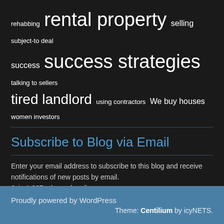rehabbing rental property selling subject-to deal success success strategies talking to sellers tired landlord using contractors We buy houses women investors
Subscribe to Blog via Email
Enter your email address to subscribe to this blog and receive notifications of new posts by email. Join 1,867 other subscribers
Proudly powered by WordPress   Theme: Centilium by icyNETS.